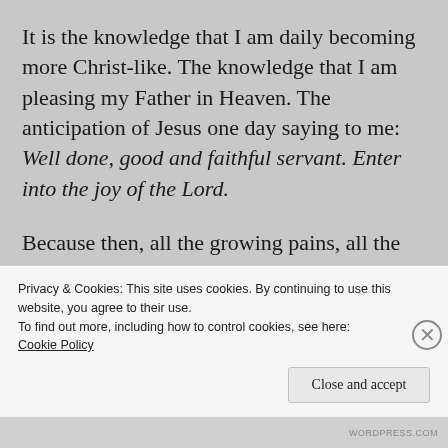It is the knowledge that I am daily becoming more Christ-like. The knowledge that I am pleasing my Father in Heaven. The anticipation of Jesus one day saying to me: Well done, good and faithful servant. Enter into the joy of the Lord.
Because then, all the growing pains, all the dying to self, all the mortifying of my fleshly
Privacy & Cookies: This site uses cookies. By continuing to use this website, you agree to their use.
To find out more, including how to control cookies, see here:
Cookie Policy